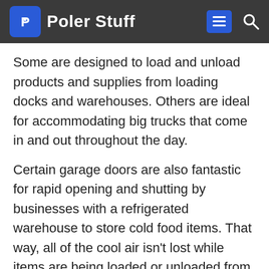Poler Stuff
Some are designed to load and unload products and supplies from loading docks and warehouses. Others are ideal for accommodating big trucks that come in and out throughout the day.
Certain garage doors are also fantastic for rapid opening and shutting by businesses with a refrigerated warehouse to store cold food items. That way, all of the cool air isn't lost while items are being loaded or unloaded from the truck or facility.
One of our favorite types of commercial garage door the manual service door that comes built into the actual